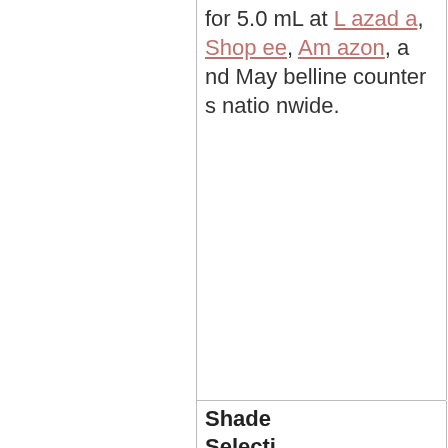for 5.0 mL at Lazada, Shopee, Amazon, and Maybelline counters nationwide.
Shade Selecti